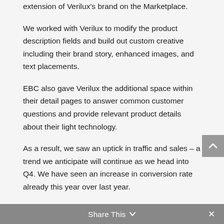extension of Verilux's brand on the Marketplace.
We worked with Verilux to modify the product description fields and build out custom creative including their brand story, enhanced images, and text placements.
EBC also gave Verilux the additional space within their detail pages to answer common customer questions and provide relevant product details about their light technology.
As a result, we saw an uptick in traffic and sales – a trend we anticipate will continue as we head into Q4. We have seen an increase in conversion rate already this year over last year.
Share This ∨  ×